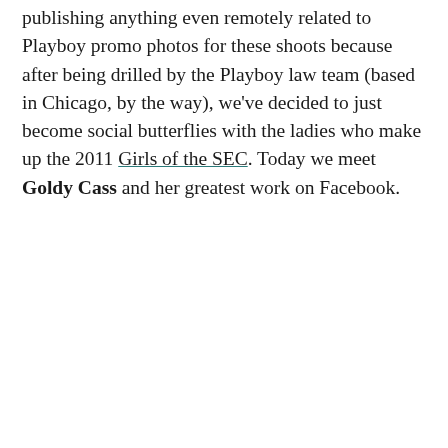publishing anything even remotely related to Playboy promo photos for these shoots because after being drilled by the Playboy law team (based in Chicago, by the way), we've decided to just become social butterflies with the ladies who make up the 2011 Girls of the SEC. Today we meet Goldy Cass and her greatest work on Facebook.